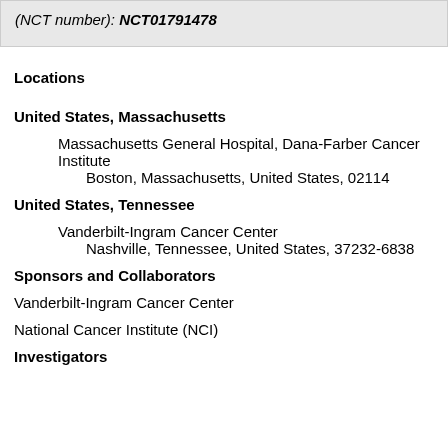(NCT number): NCT01791478
Locations
United States, Massachusetts
Massachusetts General Hospital, Dana-Farber Cancer Institute
Boston, Massachusetts, United States, 02114
United States, Tennessee
Vanderbilt-Ingram Cancer Center
Nashville, Tennessee, United States, 37232-6838
Sponsors and Collaborators
Vanderbilt-Ingram Cancer Center
National Cancer Institute (NCI)
Investigators